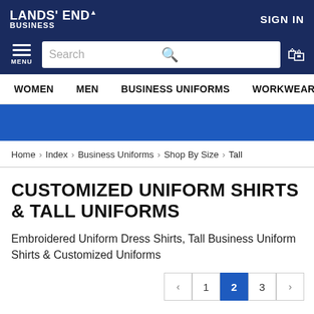LANDS' END BUSINESS — SIGN IN
MENU Search
WOMEN   MEN   BUSINESS UNIFORMS   WORKWEAR
Home > Index > Business Uniforms > Shop By Size > Tall
CUSTOMIZED UNIFORM SHIRTS & TALL UNIFORMS
Embroidered Uniform Dress Shirts, Tall Business Uniform Shirts & Customized Uniforms
< 1 2 3 >